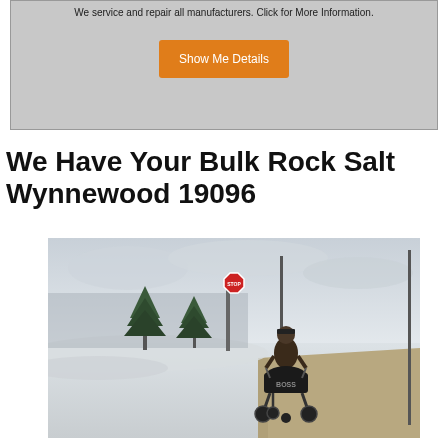We service and repair all manufacturers. Click for More Information.
Show Me Details
We Have Your Bulk Rock Salt Wynnewood 19096
[Figure (photo): Person pushing a BOSS brand spreader on a snowy road/sidewalk, with evergreen trees, a stop sign, and a vertical pole visible in the background under an overcast sky.]